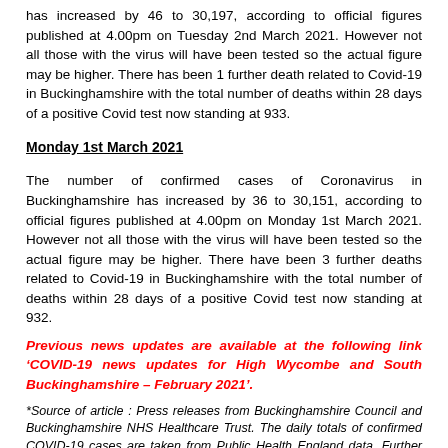has increased by 46 to 30,197, according to official figures published at 4.00pm on Tuesday 2nd March 2021. However not all those with the virus will have been tested so the actual figure may be higher. There has been 1 further death related to Covid-19 in Buckinghamshire with the total number of deaths within 28 days of a positive Covid test now standing at 933.
Monday 1st March 2021
The number of confirmed cases of Coronavirus in Buckinghamshire has increased by 36 to 30,151, according to official figures published at 4.00pm on Monday 1st March 2021. However not all those with the virus will have been tested so the actual figure may be higher. There have been 3 further deaths related to Covid-19 in Buckinghamshire with the total number of deaths within 28 days of a positive Covid test now standing at 932.
Previous news updates are available at the following link ‘COVID-19 news updates for High Wycombe and South Buckinghamshire – February 2021’.
*Source of article : Press releases from Buckinghamshire Council and Buckinghamshire NHS Healthcare Trust. The daily totals of confirmed COVID-19 cases are taken from Public Health England data. Further information about the data can be found at the following link https://coronavirus.data.gov.uk/details/about-data.